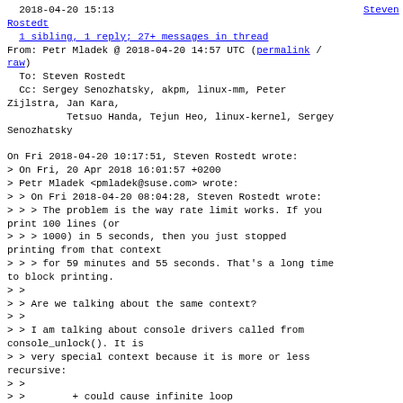2018-04-20 15:13                                                Steven Rostedt
  1 sibling, 1 reply; 27+ messages in thread
From: Petr Mladek @ 2018-04-20 14:57 UTC (permalink / raw)
  To: Steven Rostedt
  Cc: Sergey Senozhatsky, akpm, linux-mm, Peter Zijlstra, Jan Kara,
          Tetsuo Handa, Tejun Heo, linux-kernel, Sergey Senozhatsky

On Fri 2018-04-20 10:17:51, Steven Rostedt wrote:
> On Fri, 20 Apr 2018 16:01:57 +0200
> Petr Mladek <pmladek@suse.com> wrote:
> > On Fri 2018-04-20 08:04:28, Steven Rostedt wrote:
> > > The problem is the way rate limit works. If you print 100 lines (or
> > > 1000) in 5 seconds, then you just stopped printing from that context
> > > for 59 minutes and 55 seconds. That's a long time to block printing.
> >
> > Are we talking about the same context?
> >
> > I am talking about console drivers called from console_unlock(). It is
> > very special context because it is more or less recursive:
> >
> >        + could cause infinite loop